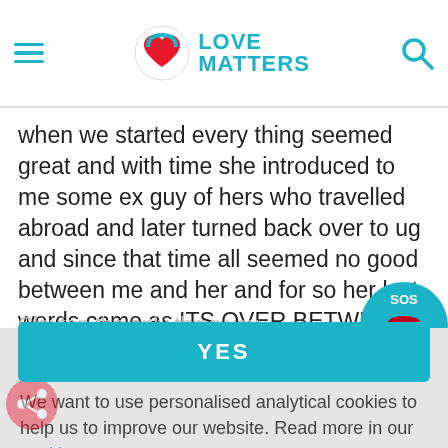Love Matters
when we started every thing seemed great and with time she introduced to me some ex guy of hers who travelled abroad and later turned back over to ug and since that time all seemed no good between me and her and for so her last words came as ITS OVER BETWEEN ME AND HER BUT I FEEL I STILL LOVE HER MUCH,what should I do
Cookie Policy
We want to use personalised analytical cookies to help us to improve our website. Read more in our cookie statement
YES
Clayton the only thing you
on. A relationship is between two people who want to be with each other, and if only